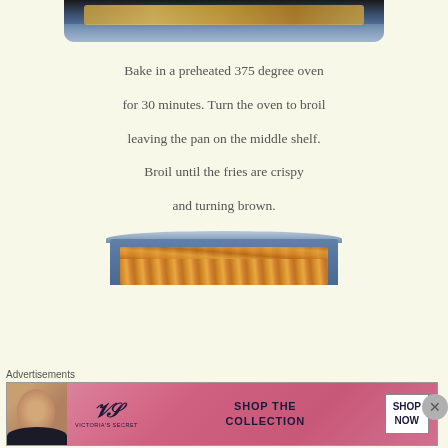[Figure (photo): Top portion of a blue baking pan with food (casserole) visible at the top of the page, cropped]
Bake in a preheated 375 degree oven for 30 minutes. Turn the oven to broil leaving the pan on the middle shelf. Broil until the fries are crispy and turning brown.
[Figure (photo): A blue baking pan filled with crispy golden shredded fries/hash browns viewed from above, partially cropped at bottom]
Advertisements
[Figure (photo): Victoria's Secret advertisement banner showing a model, the VS logo, 'SHOP THE COLLECTION' text, and a 'SHOP NOW' button]